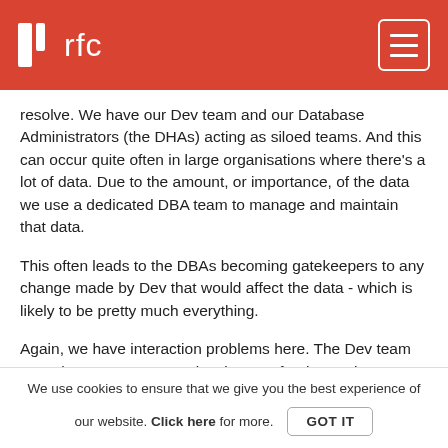rfc
resolve. We have our Dev team and our Database Administrators (the DHAs) acting as siloed teams. And this can occur quite often in large organisations where there's a lot of data. Due to the amount, or importance, of the data we use a dedicated DBA team to manage and maintain that data.
This often leads to the DBAs becoming gatekeepers to any change made by Dev that would affect the data - which is likely to be pretty much everything.
Again, we have interaction problems here. The Dev team want the DBA team to make changes for them. The DBA team want the Dev team to focus on data problems. It produces that common "them" and "us" with the teams clashing on how best to
We use cookies to ensure that we give you the best experience of our website. Click here for more. GOT IT